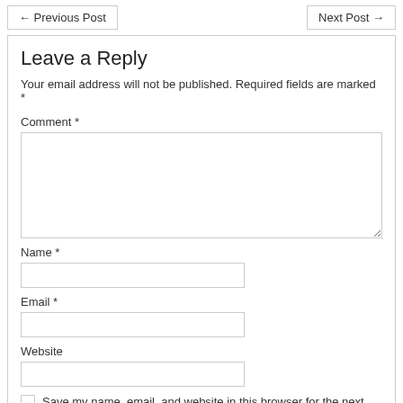← Previous Post    Next Post →
Leave a Reply
Your email address will not be published. Required fields are marked *
Comment *
Name *
Email *
Website
Save my name, email, and website in this browser for the next time I comment.